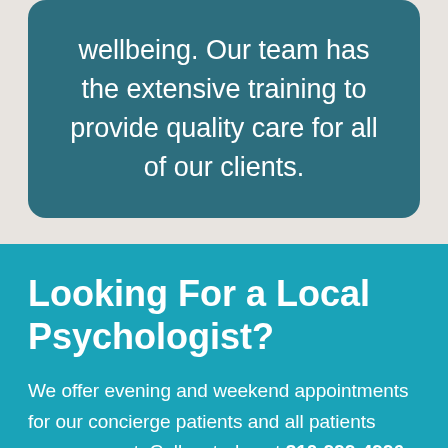wellbeing. Our team has the extensive training to provide quality care for all of our clients.
Looking For a Local Psychologist?
We offer evening and weekend appointments for our concierge patients and all patients upon request. Call us today at 310-999-4996 to